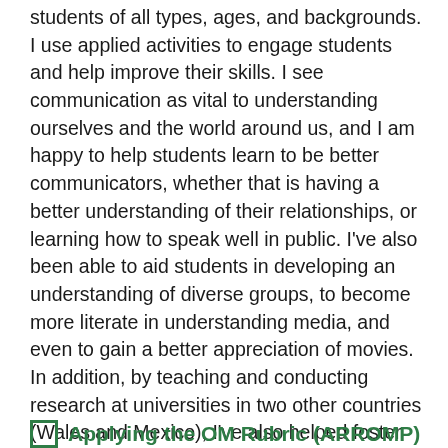students of all types, ages, and backgrounds. I use applied activities to engage students and help improve their skills. I see communication as vital to understanding ourselves and the world around us, and I am happy to help students learn to be better communicators, whether that is having a better understanding of their relationships, or learning how to speak well in public. I've also been able to aid students in developing an understanding of diverse groups, to become more literate in understanding media, and even to gain a better appreciation of movies. In addition, by teaching and conducting research at universities in two other countries (Wales and Mexico), I've also helped foster better understanding between peoples (giving me a chance to put theory into practice).
Applying the OM Rubric (ARROMP)